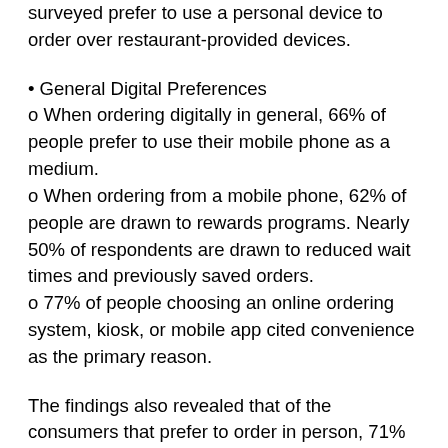surveyed prefer to use a personal device to order over restaurant-provided devices.
• General Digital Preferences
o When ordering digitally in general, 66% of people prefer to use their mobile phone as a medium.
o When ordering from a mobile phone, 62% of people are drawn to rewards programs. Nearly 50% of respondents are drawn to reduced wait times and previously saved orders.
o 77% of people choosing an online ordering system, kiosk, or mobile app cited convenience as the primary reason.
The findings also revealed that of the consumers that prefer to order in person, 71% prefer to do so because of the ability to ask questions about the menu. As digital menus become more advanced the need to ask questions will diminish, which may lead